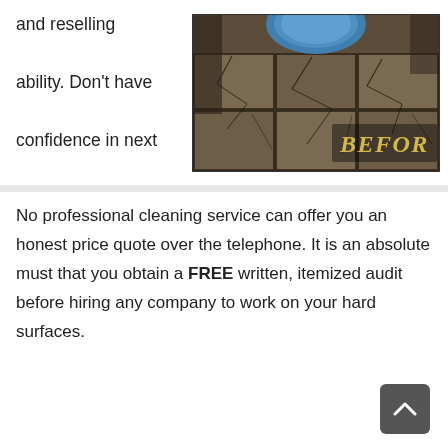[Figure (logo): First Class Floor Cleaning company logo with circular icon showing a house and cleaning symbol, and brand name 'First Class Floor Cleaning' in blue and dark text with a green swoosh underline]
and reselling ability. Don't have confidence in next cleaning service to an amateur.
[Figure (photo): Before photo of dirty, cracked tile floor in a bathroom with a blue toilet visible at the top, labeled 'BEFOR' in yellow text]
No professional cleaning service can offer you an honest price quote over the telephone. It is an absolute must that you obtain a FREE written, itemized audit before hiring any company to work on your hard surfaces.